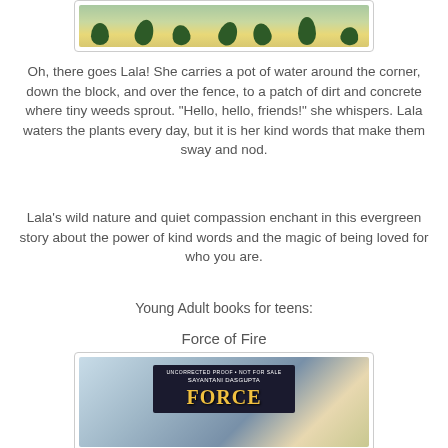[Figure (photo): Top portion of a book cover or illustration showing tropical green leaves/plants against a colorful background with yellow and green tones]
Oh, there goes Lala! She carries a pot of water around the corner, down the block, and over the fence, to a patch of dirt and concrete where tiny weeds sprout. "Hello, hello, friends!" she whispers. Lala waters the plants every day, but it is her kind words that make them sway and nod.
Lala's wild nature and quiet compassion enchant in this evergreen story about the power of kind words and the magic of being loved for who you are.
Young Adult books for teens:
Force of Fire
[Figure (photo): Book cover of 'Force of Fire' by Sayantani DasGupta, showing an uncorrected proof with blue cosmic/galaxy artwork and gold title text, against a colorful background]